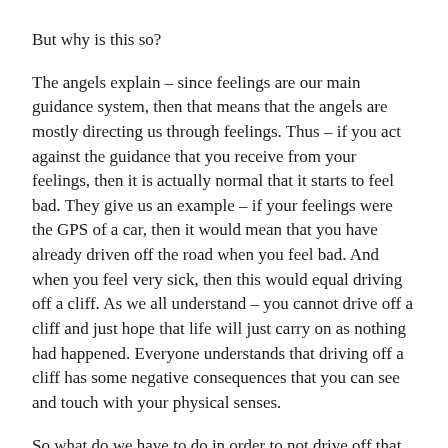But why is this so?
The angels explain – since feelings are our main guidance system, then that means that the angels are mostly directing us through feelings. Thus – if you act against the guidance that you receive from your feelings, then it is actually normal that it starts to feel bad. They give us an example – if your feelings were the GPS of a car, then it would mean that you have already driven off the road when you feel bad. And when you feel very sick, then this would equal driving off a cliff. As we all understand – you cannot drive off a cliff and just hope that life will just carry on as nothing had happened. Everyone understands that driving off a cliff has some negative consequences that you can see and touch with your physical senses.
So what do we have to do in order to not drive off that cliff? You have to listen to your own intuition – not the